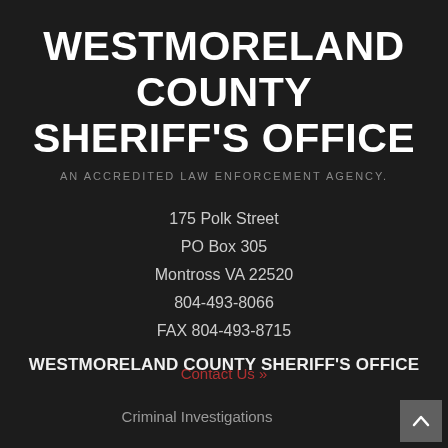WESTMORELAND COUNTY SHERIFF'S OFFICE
AN ACCREDITED LAW ENFORCEMENT AGENCY.
175 Polk Street
PO Box 305
Montross VA 22520
804-493-8066
FAX 804-493-8715
Contact Us »
WESTMORELAND COUNTY SHERIFF'S OFFICE
Criminal Investigations